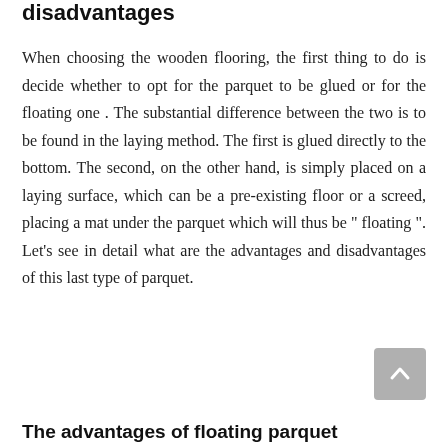disadvantages
When choosing the wooden flooring, the first thing to do is decide whether to opt for the parquet to be glued or for the floating one . The substantial difference between the two is to be found in the laying method. The first is glued directly to the bottom. The second, on the other hand, is simply placed on a laying surface, which can be a pre-existing floor or a screed, placing a mat under the parquet which will thus be " floating ". Let's see in detail what are the advantages and disadvantages of this last type of parquet.
The advantages of floating parquet